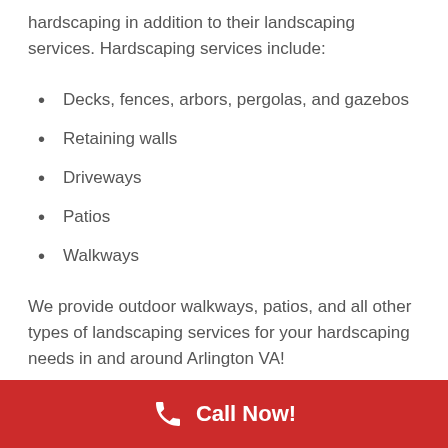hardscaping in addition to their landscaping services. Hardscaping services include:
Decks, fences, arbors, pergolas, and gazebos
Retaining walls
Driveways
Patios
Walkways
We provide outdoor walkways, patios, and all other types of landscaping services for your hardscaping needs in and around Arlington VA!
Learn more about hardscape
Decks, Fences, and Patio Builders in Arlington VA
Call Now!